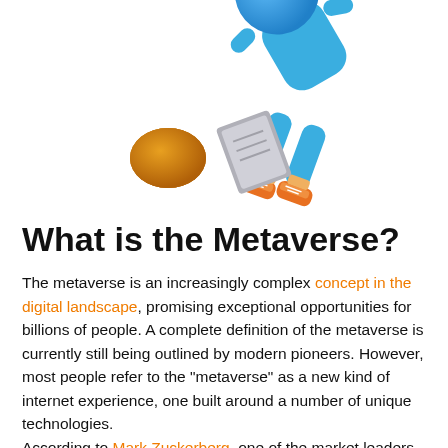[Figure (illustration): Colorful cartoon illustration of a person falling/tumbling, wearing orange sneakers and blue clothes, with an orange ball nearby, on white background.]
What is the Metaverse?
The metaverse is an increasingly complex concept in the digital landscape, promising exceptional opportunities for billions of people. A complete definition of the metaverse is currently still being outlined by modern pioneers. However, most people refer to the "metaverse" as a new kind of internet experience, one built around a number of unique technologies.
According to Mark Zuckerberg, one of the market leaders currently investing in the idea of the metaverse, the metaverse is a kind of "embodied internet". It's something